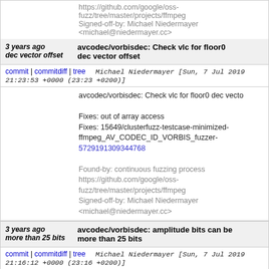https://github.com/google/oss-fuzz/tree/master/projects/ffmpeg
Signed-off-by: Michael Niedermayer <michael@niedermayer.cc>
3 years ago dec vector offset | avcodec/vorbisdec: Check vlc for floor0 dec vector offset
commit | commitdiff | tree   Michael Niedermayer [Sun, 7 Jul 2019 21:23:53 +0000 (23:23 +0200)]
avcodec/vorbisdec: Check vlc for floor0 dec vector offset

Fixes: out of array access
Fixes: 15649/clusterfuzz-testcase-minimized-ffmpeg_AV_CODEC_ID_VORBIS_fuzzer-5729191309344768

Found-by: continuous fuzzing process
https://github.com/google/oss-fuzz/tree/master/projects/ffmpeg
Signed-off-by: Michael Niedermayer <michael@niedermayer.cc>
3 years ago more than 25 bits | avcodec/vorbisdec: amplitude bits can be more than 25 bits
commit | commitdiff | tree   Michael Niedermayer [Sun, 7 Jul 2019 21:16:12 +0000 (23:16 +0200)]
avcodec/vorbisdec: amplitude bits can be more tha...